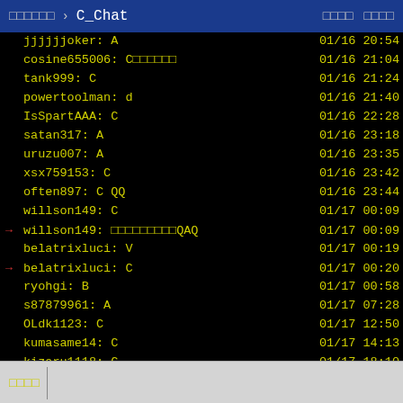□□□□□□ › C_Chat  □□□□ □□□□
jjjjjjoker: A  01/16 20:54
cosine655006: C□□□□□□  01/16 21:04
tank999: C  01/16 21:24
powertoolman: d  01/16 21:40
IsSpartAAA: C  01/16 22:28
satan317: A  01/16 23:18
uruzu007: A  01/16 23:35
xsx759153: C  01/16 23:42
often897: C QQ  01/16 23:44
willson149: C  01/17 00:09
→ willson149: □□□□□□□□□QAQ  01/17 00:09
belatrixluci: V  01/17 00:19
→ belatrixluci: C  01/17 00:20
ryohgi: B  01/17 00:58
s87879961: A  01/17 07:28
OLdk1123: C  01/17 12:50
kumasame14: C  01/17 14:13
kizaru1118: C  01/17 18:10
□□□□